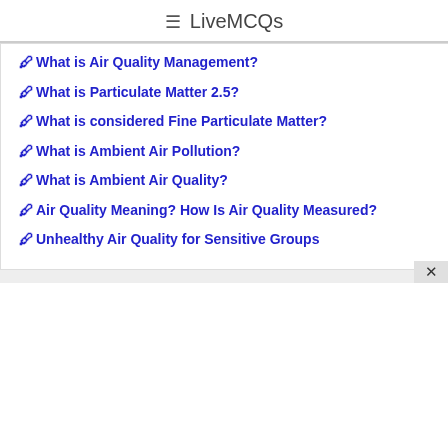≡ LiveMCQs
✏ What is Air Quality Management?
✏ What is Particulate Matter 2.5?
✏ What is considered Fine Particulate Matter?
✏ What is Ambient Air Pollution?
✏ What is Ambient Air Quality?
✏ Air Quality Meaning? How Is Air Quality Measured?
✏ Unhealthy Air Quality for Sensitive Groups